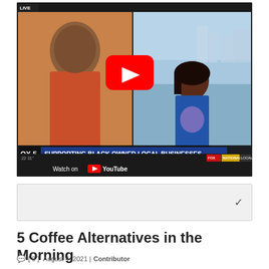[Figure (screenshot): A YouTube video thumbnail showing a FOX 5 news broadcast. Split screen with a smiling woman in an orange top on the left (video call) and a news anchor in a blue dress on the right in a studio. A red YouTube play button is overlaid in the center. Lower third banner reads 'OX 5 SUPPORTING BLACK OWNED LOCAL BUSINESSES'. Below shows '22 31' timestamp and FOX NATIONAL LOCAL tabs. Bottom bar shows 'Watch on YouTube'.]
5 Coffee Alternatives in the Morning
[0]  August 4, 2021 | Contributor